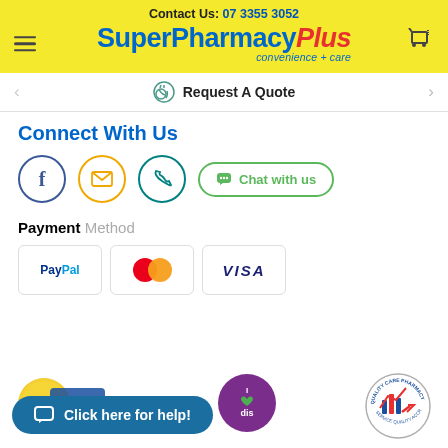Contact Us: 07 3355 3052
SuperPharmacyPlus convenience + care
Request A Quote
Connect With Us
[Figure (logo): Social connect icons: Facebook, Email, Phone, Chat with us button]
Payment Method
[Figure (logo): Payment method logos: PayPal, Mastercard, VISA]
[Figure (logo): Bottom badges: I love Dis purple circle, Quality Care Pharmacy badge, Click here for help chat button]